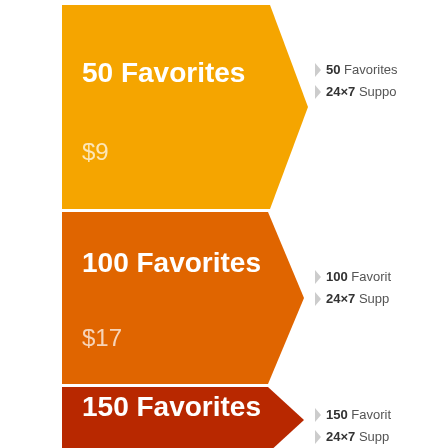[Figure (infographic): Pricing tiers shown as chevron/arrow shapes stacked vertically. Four tiers: 50 Favorites $9 (golden orange), 100 Favorites $17 (dark orange), 150 Favorites $25 (red-orange/dark red), 200 Favorites $30 (yellow-gold). Right side shows bullet points with heart icons listing features for each tier (Favorites count and 24x7 Support).]
50 Favorites
24×7 Support
100 Favorites
24×7 Support
150 Favorites
24×7 Support
200 Favorites
24×7 Support